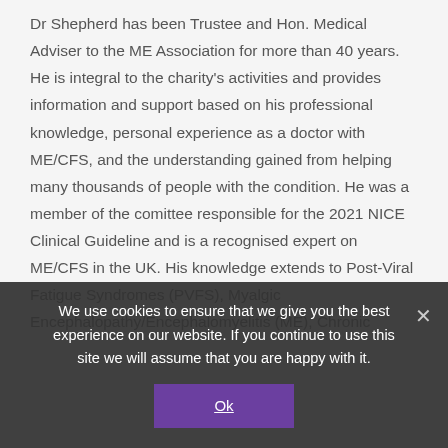Dr Shepherd has been Trustee and Hon. Medical Adviser to the ME Association for more than 40 years. He is integral to the charity's activities and provides information and support based on his professional knowledge, personal experience as a doctor with ME/CFS, and the understanding gained from helping many thousands of people with the condition. He was a member of the comittee responsible for the 2021 NICE Clinical Guideline and is a recognised expert on ME/CFS in the UK. His knowledge extends to Post-Viral Fatigue Syndromes (PVFS), Myalgic Encephalopathy/Encephalomyelitis (ME), Chronic...
We use cookies to ensure that we give you the best experience on our website. If you continue to use this site we will assume that you are happy with it.